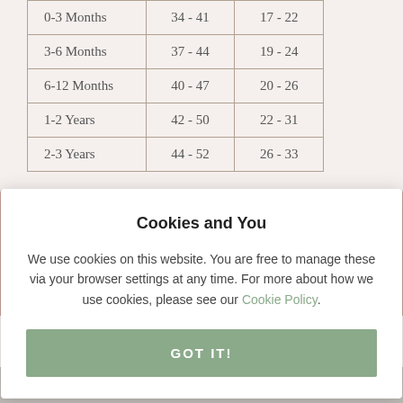| 0-3 Months | 34 - 41 | 17 - 22 |
| 3-6 Months | 37 - 44 | 19 - 24 |
| 6-12 Months | 40 - 47 | 20 - 26 |
| 1-2 Years | 42 - 50 | 22 - 31 |
| 2-3 Years | 44 - 52 | 26 - 33 |
We're Here to Help
Cookies and You
We use cookies on this website. You are free to manage these via your browser settings at any time. For more about how we use cookies, please see our Cookie Policy.
GOT IT!